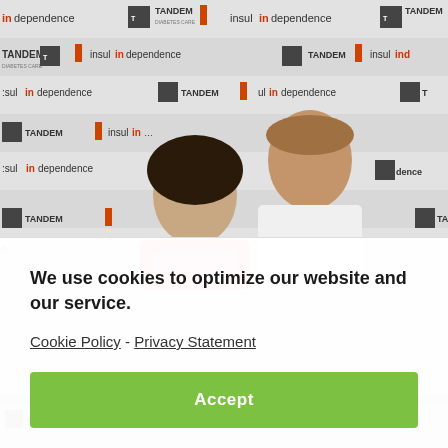[Figure (photo): Two people (a woman in a coral/pink blazer and a man in a white shirt) posing and smiling in front of a step-and-repeat banner featuring 'TANDEM DIABETES CARE' and 'insulindependence' logos repeated in rows.]
We use cookies to optimize our website and our service.
Cookie Policy - Privacy Statement
Accept